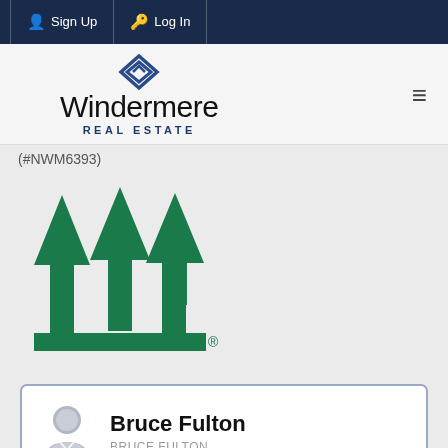Sign Up  Log In
[Figure (logo): Windermere Real Estate logo with diamond/arrow icon and text]
(#NWM6393)
[Figure (logo): Green stylized tree/arrow triple logo with registered trademark symbol]
Bruce Fulton
BRUCE FULTON